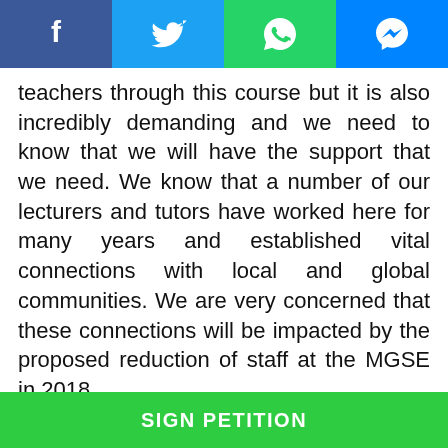[Figure (other): Social media share bar with Facebook, Twitter, WhatsApp, and Messenger icons]
teachers through this course but it is also incredibly demanding and we need to know that we will have the support that we need. We know that a number of our lecturers and tutors have worked here for many years and established vital connections with local and global communities. We are very concerned that these connections will be impacted by the proposed reduction of staff at the MGSE in 2018.

This letter, and the number of signatures accompanying it, highlights your need to address these issues. Please consider the message you are sending to your current and future cohorts. You are demonstrating that you do not prioritise
SIGN PETITION